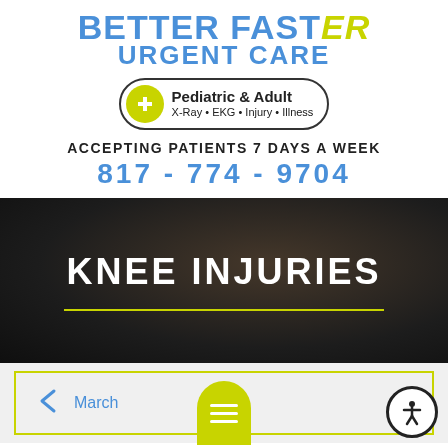[Figure (logo): Better Faster ER Urgent Care logo with Pediatric & Adult badge showing X-Ray, EKG, Injury, Illness services]
ACCEPTING PATIENTS 7 DAYS A WEEK
817-774-9704
KNEE INJURIES
March